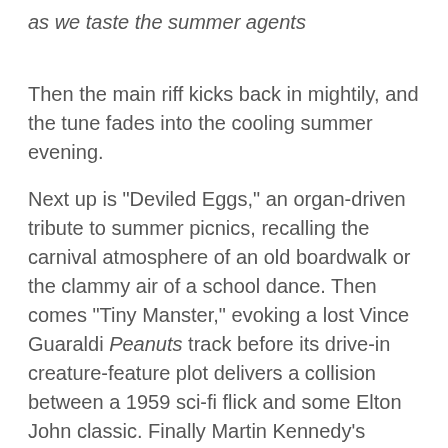as we taste the summer agents
Then the main riff kicks back in mightily, and the tune fades into the cooling summer evening.
Next up is "Deviled Eggs," an organ-driven tribute to summer picnics, recalling the carnival atmosphere of an old boardwalk or the clammy air of a school dance. Then comes "Tiny Manster," evoking a lost Vince Guaraldi Peanuts track before its drive-in creature-feature plot delivers a collision between a 1959 sci-fi flick and some Elton John classic. Finally Martin Kennedy's atmospheric remix of the title track washes up on the shore like a gentle wave… and the original's sunny, enjoy-it-while-it lasts rock recedes to a dusky, last-call reflection on times gone by.